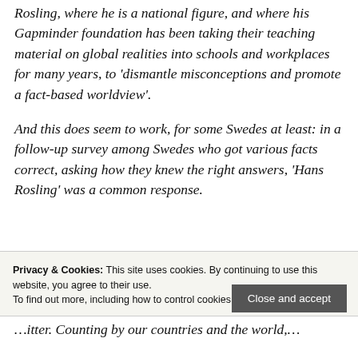Rosling, where he is a national figure, and where his Gapminder foundation has been taking their teaching material on global realities into schools and workplaces for many years, to 'dismantle misconceptions and promote a fact-based worldview'.
And this does seem to work, for some Swedes at least: in a follow-up survey among Swedes who got various facts correct, asking how they knew the right answers, 'Hans Rosling' was a common response.
Privacy & Cookies: This site uses cookies. By continuing to use this website, you agree to their use. To find out more, including how to control cookies, see here: Cookie Policy
Close and accept
…itter. Counting by our countries and the world, …